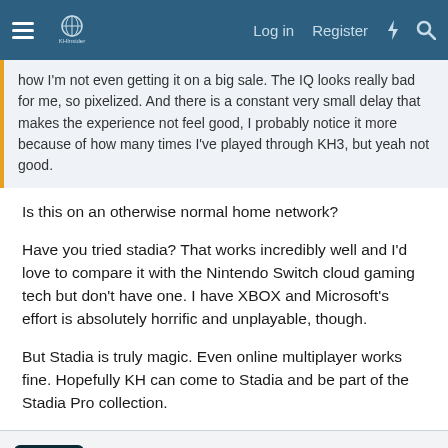Log in  Register
how I'm not even getting it on a big sale. The IQ looks really bad for me, so pixelized. And there is a constant very small delay that makes the experience not feel good, I probably notice it more because of how many times I've played through KH3, but yeah not good.
Is this on an otherwise normal home network?
Have you tried stadia? That works incredibly well and I'd love to compare it with the Nintendo Switch cloud gaming tech but don't have one. I have XBOX and Microsoft's effort is absolutely horrific and unplayable, though.
But Stadia is truly magic. Even online multiplayer works fine. Hopefully KH can come to Stadia and be part of the Stadia Pro collection.
HakaishinChampa
Active member